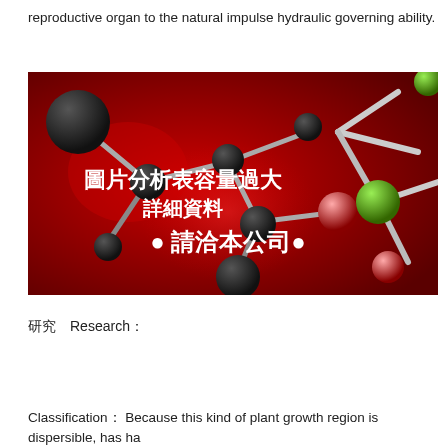reproductive organ to the natural impulse hydraulic governing ability.
[Figure (illustration): Molecular structure illustration on red background with Chinese text overlay reading: 圖片分析表容量過大 詳細資料 ● 請洽本公司●]
研究　Research：
Classification： Because this kind of plant growth region is　dispersible, has ha